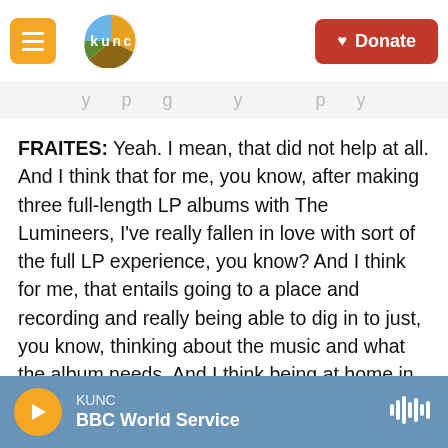KUNC logo and navigation header with Donate button
FRAITES: Yeah. I mean, that did not help at all. And I think that for me, you know, after making three full-length LP albums with The Lumineers, I've really fallen in love with sort of the full LP experience, you know? And I think for me, that entails going to a place and recording and really being able to dig in to just, you know, thinking about the music and what the album needs. And I think being at home in Denver with, you know, caring for the dog where - OK - our son Tommaso - he went down for his nap. I got to go downstairs and record the piano now. And whether I was feeling
KUNC | BBC World Service